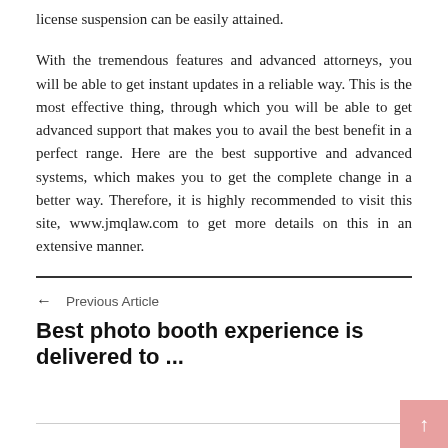license suspension can be easily attained.
With the tremendous features and advanced attorneys, you will be able to get instant updates in a reliable way. This is the most effective thing, through which you will be able to get advanced support that makes you to avail the best benefit in a perfect range. Here are the best supportive and advanced systems, which makes you to get the complete change in a better way. Therefore, it is highly recommended to visit this site, www.jmqlaw.com to get more details on this in an extensive manner.
← Previous Article
Best photo booth experience is delivered to ...